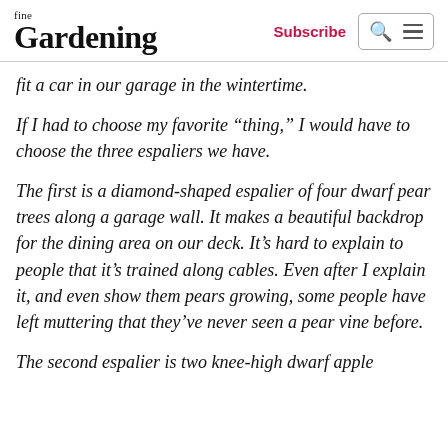fine Gardening | Subscribe
fit a car in our garage in the wintertime.
If I had to choose my favorite “thing,” I would have to choose the three espaliers we have.
The first is a diamond-shaped espalier of four dwarf pear trees along a garage wall. It makes a beautiful backdrop for the dining area on our deck. It’s hard to explain to people that it’s trained along cables. Even after I explain it, and even show them pears growing, some people have left muttering that they’ve never seen a pear vine before.
The second espalier is two knee-high dwarf apple